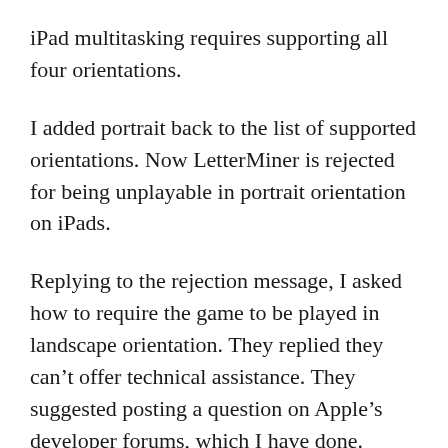iPad multitasking requires supporting all four orientations.
I added portrait back to the list of supported orientations. Now LetterMiner is rejected for being unplayable in portrait orientation on iPads.
Replying to the rejection message, I asked how to require the game to be played in landscape orientation. They replied they can’t offer technical assistance. They suggested posting a question on Apple’s developer forums, which I have done.
If I can’t find a way to require landscape orientation on iPads, I won’t be releasing